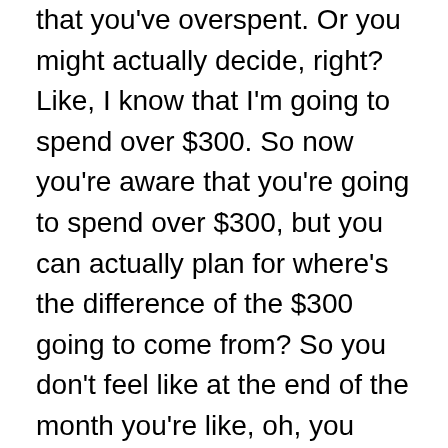that you've overspent. Or you might actually decide, right? Like, I know that I'm going to spend over $300. So now you're aware that you're going to spend over $300, but you can actually plan for where's the difference of the $300 going to come from? So you don't feel like at the end of the month you're like, oh, you know, I was going to save money, but now I can't because I've overspent. And it's all about being in control and thinking about, you know, maybe you want to decide because you know, that you're going to eat out more.
Another example I'll give here is that you